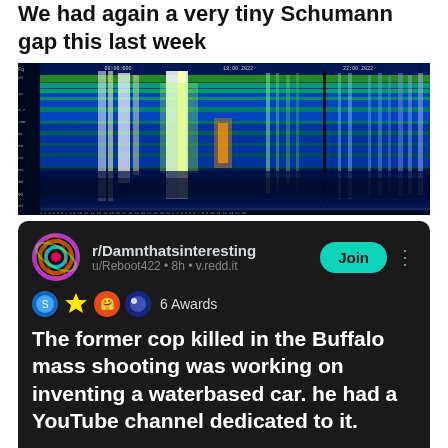We had again a very tiny Schumann gap this last week
[Figure (other): Spectrogram / waterfall chart showing frequency vs time, with a colorful display of electromagnetic frequency data (Schumann resonance). Colors range from blue (low intensity) to green, yellow, and white (high intensity). Time axis runs horizontally, frequency axis runs vertically.]
[Figure (screenshot): Reddit post screenshot from r/Damnthatsinteresting by u/Reboot422, 8h, v.redd.it. Shows Join button, 6 Awards. Post text: 'The former cop killed in the Buffalo mass shooting was working on inventing a waterbased car. he had a YouTube channel dedicated to it.']